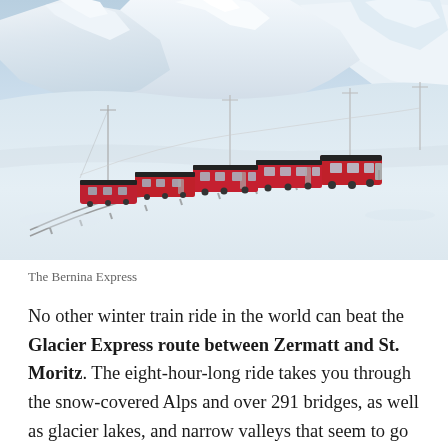[Figure (photo): A red Bernina Express train curving through a vast snow-covered alpine landscape with dramatic snow-capped mountains in the background under a pale blue sky.]
The Bernina Express
No other winter train ride in the world can beat the Glacier Express route between Zermatt and St. Moritz. The eight-hour-long ride takes you through the snow-covered Alps and over 291 bridges, as well as glacier lakes, and narrow valleys that seem to go